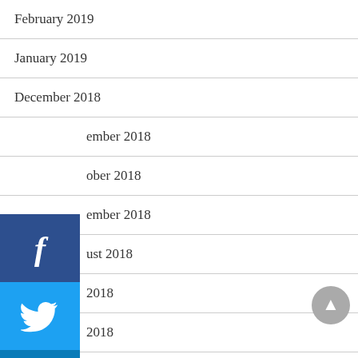February 2019
January 2019
December 2018
November 2018
October 2018
September 2018
August 2018
July 2018
June 2018
May 2018
April 2018
March 2018
[Figure (infographic): Social media share buttons sidebar: Facebook (dark blue), Twitter (light blue), LinkedIn (blue), Pinterest (red), Reddit (light blue with alien icon), YouTube (red with YouTube logo)]